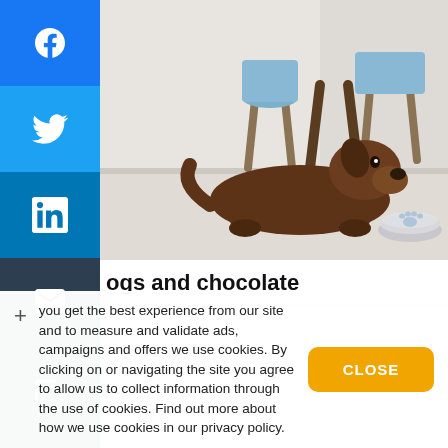[Figure (photo): Chocolate Labrador dog lying on a light wood floor with a metal water bowl with paw print design in front, blue chairs visible in background]
Dogs and chocolate
you get the best experience from our site and to measure and validate ads, campaigns and offers we use cookies. By clicking on or navigating the site you agree to allow us to collect information through the use of cookies. Find out more about how we use cookies in our privacy policy.